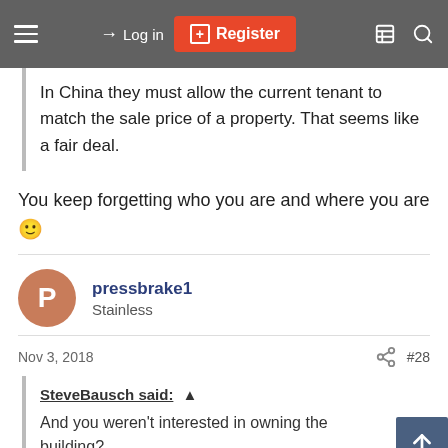Log in | Register
In China they must allow the current tenant to match the sale price of a property. That seems like a fair deal.
You keep forgetting who you are and where you are 🙂
pressbrake1
Stainless
Nov 3, 2018  #28
SteveBausch said: ↑
And you weren't interested in owning the building?